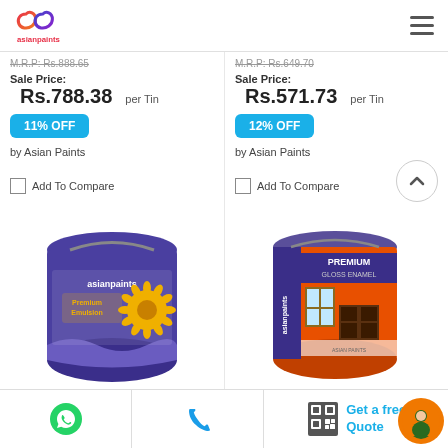[Figure (logo): Asian Paints logo - stylized 'ap' letters in gradient color with 'asianpaints' text below]
M.R.P: Rs.888.65
M.R.P: Rs.649.70
Sale Price:
Rs.788.38  per Tin
Sale Price:
Rs.571.73  per Tin
11% OFF
12% OFF
by Asian Paints
by Asian Paints
Add To Compare
Add To Compare
[Figure (photo): Asian Paints Premium Emulsion paint tin - dark blue/purple tin with sunflower design]
[Figure (photo): Asian Paints Premium Gloss Enamel paint tin - orange and white tin with window/furniture scene]
[Figure (illustration): WhatsApp icon - green circle with phone handset]
[Figure (illustration): Phone call icon - blue phone handset]
[Figure (illustration): QR code / brochure icon]
Get a free Quote